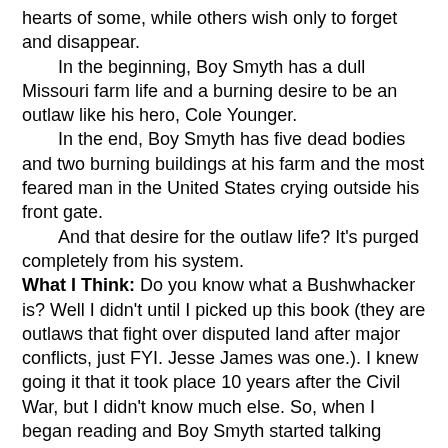hearts of some, while others wish only to forget and disappear.
    In the beginning, Boy Smyth has a dull Missouri farm life and a burning desire to be an outlaw like his hero, Cole Younger.
    In the end, Boy Smyth has five dead bodies and two burning buildings at his farm and the most feared man in the United States crying outside his front gate.
    And that desire for the outlaw life? It's purged completely from his system.
What I Think: Do you know what a Bushwhacker is? Well I didn't until I picked up this book (they are outlaws that fight over disputed land after major conflicts, just FYI. Jesse James was one.). I knew going it that it took place 10 years after the Civil War, but I didn't know much else. So, when I began reading and Boy Smyth started talking about Bushwhackers and Cole Younger and train robberies I was intrigued. I immediately wanted to know what the history was and what the fiction was, so I jumped on the computer and did about 30 minutes of side research- this time period is so interesting! I had no idea that this border war continued for years after the end of the Civil War.